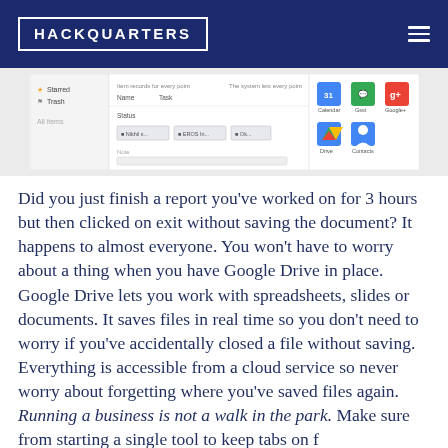HACKQUARTERS
[Figure (screenshot): Screenshot of a Google Drive or similar cloud application interface showing file manager and app icons including Calendar, Chat, Google+, Drive, and Contacts]
Did you just finish a report you've worked on for 3 hours but then clicked on exit without saving the document? It happens to almost everyone. You won't have to worry about a thing when you have Google Drive in place. Google Drive lets you work with spreadsheets, slides or documents. It saves files in real time so you don't need to worry if you've accidentally closed a file without saving. Everything is accessible from a cloud service so never worry about forgetting where you've saved files again. Running a business is not a walk in the park. Make sure from starting a single tool to keep tabs on f